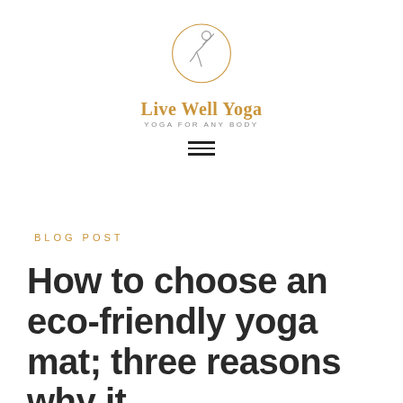[Figure (logo): Live Well Yoga logo with circular yoga figure SVG graphic, text 'Live Well Yoga' in gold/amber and 'YOGA FOR ANY BODY' subtitle in gray]
[Figure (other): Hamburger menu icon — three horizontal black lines]
BLOG POST
How to choose an eco-friendly yoga mat; three reasons why it